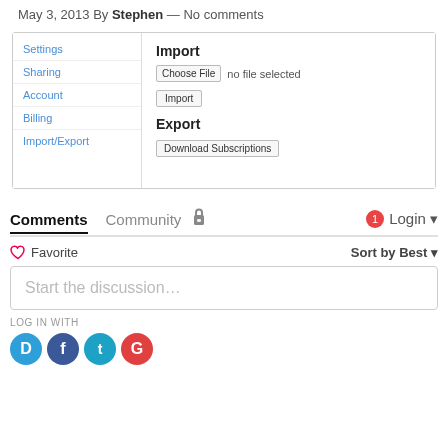May 3, 2013 By Stephen — No comments
[Figure (screenshot): A settings panel screenshot showing a sidebar with navigation links (Settings, Sharing, Account, Billing, Import/Export) and a main area with Import section (Choose File button, no file selected, Import button) and Export section (Download Subscriptions button).]
Comments   Community   🔒   1   Login ▾
♡ Favorite   Sort by Best ▾
Start the discussion…
LOG IN WITH
[Figure (illustration): Four social login icons: Disqus (blue circle with D), Facebook (dark blue circle with f), Twitter (teal circle with bird), Google (red circle with G)]